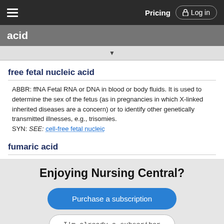Pricing  Log in
acid
free fetal nucleic acid
ABBR: ffNA Fetal RNA or DNA in blood or body fluids. It is used to determine the sex of the fetus (as in pregnancies in which X-linked inherited diseases are a concern) or to identify other genetically transmitted illnesses, e.g., trisomies.
SYN: SEE: cell-free fetal nucleic
fumaric acid
Enjoying Nursing Central?
Purchase a subscription
I'm already a subscriber